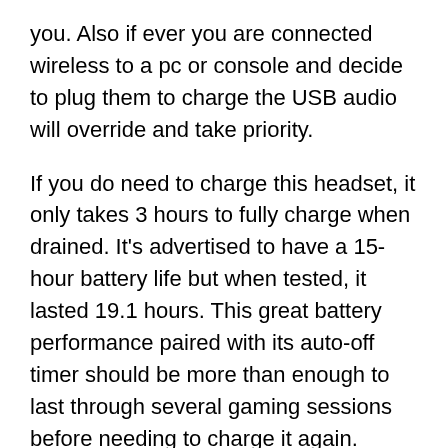you. Also if ever you are connected wireless to a pc or console and decide to plug them to charge the USB audio will override and take priority.
If you do need to charge this headset, it only takes 3 hours to fully charge when drained. It's advertised to have a 15-hour battery life but when tested, it lasted 19.1 hours. This great battery performance paired with its auto-off timer should be more than enough to last through several gaming sessions before needing to charge it again.